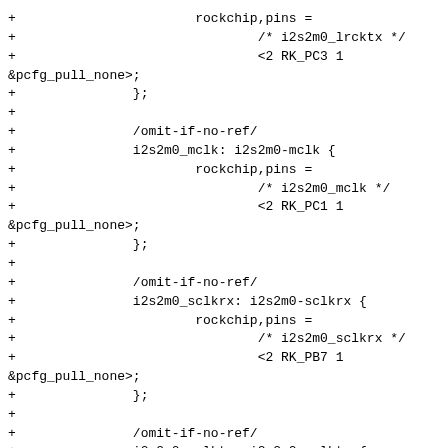+ rockchip,pins =
+					/* i2s2m0_lrcktx */
+					<2 RK_PC3 1
&pcfg_pull_none>;
+		};
+
+		/omit-if-no-ref/
+		i2s2m0_mclk: i2s2m0-mclk {
+				rockchip,pins =
+					/* i2s2m0_mclk */
+					<2 RK_PC1 1
&pcfg_pull_none>;
+		};
+
+		/omit-if-no-ref/
+		i2s2m0_sclkrx: i2s2m0-sclkrx {
+				rockchip,pins =
+					/* i2s2m0_sclkrx */
+					<2 RK_PB7 1
&pcfg_pull_none>;
+		};
+
+		/omit-if-no-ref/
+		i2s2m0_sclktx: i2s2m0-sclktx {
+				rockchip,pins =
+					/* i2s2m0_sclktx */
+					<2 RK_PC2 1
&pcfg_pull_none>;
+		};
+